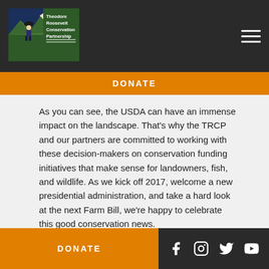[Figure (logo): Theodore Roosevelt Conservation Partnership logo with mountain/wildlife imagery]
DONATE
As you can see, the USDA can have an immense impact on the landscape. That’s why the TRCP and our partners are committed to working with these decision-makers on conservation funding initiatives that make sense for landowners, fish, and wildlife. As we kick off 2017, welcome a new presidential administration, and take a hard look at the next Farm Bill, we’re happy to celebrate this good conservation news.

Here’s hoping there’s much more to come!
DONATE
[Figure (other): Social media icons: Facebook, Instagram, Twitter, YouTube]